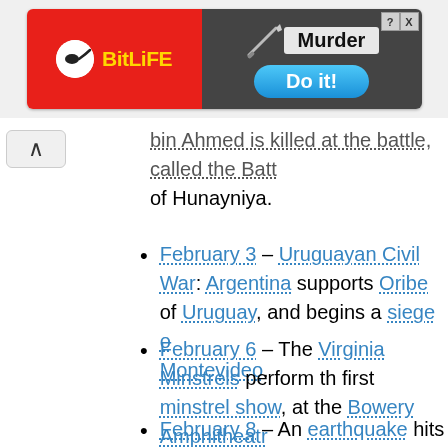[Figure (screenshot): BitLife mobile game advertisement banner with red left panel showing BitLife logo and yellow text, and dark right panel with 'Murder' text and 'Do it!' blue button. Close (X) and help (?) buttons visible in top right corner.]
bin Ahmed is killed at the battle, called the Battle of Hunayniya.
February 3 – Uruguayan Civil War: Argentina supports Oribe of Uruguay, and begins a siege of Montevideo.
February 6 – The Virginia Minstrels perform the first minstrel show, at the Bowery Amphitheatre in New York City.
February 8 – An earthquake hits the Caribbean island of Guadeloupe, killing 1,500–5000 people